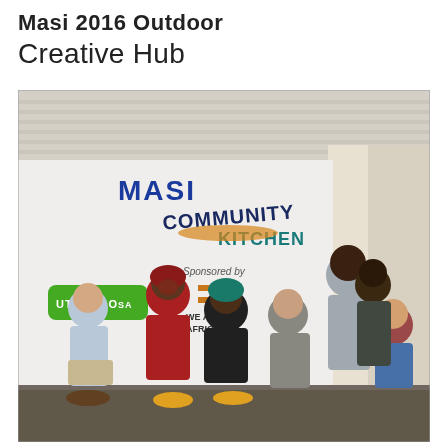Masi 2016 Outdoor Creative Hub
[Figure (photo): Group photo of approximately 8 people posed in front of a white shipping container wall painted with signage reading 'MASI COMMUNITY KITCHEN', 'Sponsored by', 'UTHANDO SA', and 'WE ARE AFRICA'. The group includes men and women of diverse backgrounds, some seated, some standing, taken inside or under a covered shipping container structure.]